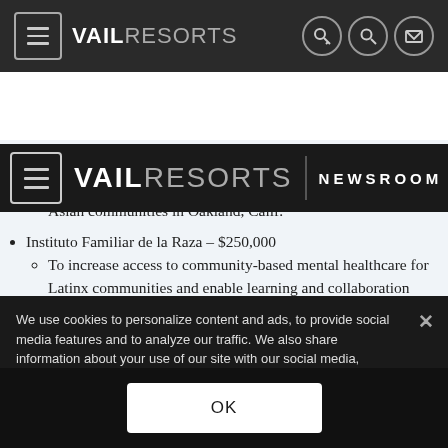VAIL RESORTS — NEWSROOM (navigation bar)
Asian Health Services – $150,000
To support mental and behavioral health services for the Asian communities in Oakland, Calif.
Instituto Familiar de la Raza – $250,000
To increase access to community-based mental healthcare for Latinx communities and enable learning and collaboration among local leaders to
We use cookies to personalize content and ads, to provide social media features and to analyze our traffic. We also share information about your use of our site with our social media, advertising and analytics partners. By continuing to use our site you agree to our Privacy Policy and use of cookies. Privacy Policy
OK